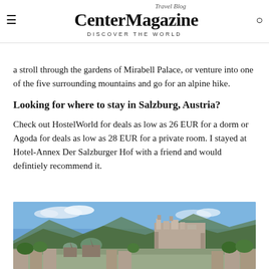Travel Blog | Center Magazine | DISCOVER THE WORLD
a stroll through the gardens of Mirabell Palace, or venture into one of the five surrounding mountains and go for an alpine hike.
Looking for where to stay in Salzburg, Austria?
Check out HostelWorld for deals as low as 26 EUR for a dorm or Agoda for deals as low as 28 EUR for a private room. I stayed at Hotel-Annex Der Salzburger Hof with a friend and would defintiely recommend it.
[Figure (photo): Panoramic view of Salzburg, Austria showing the historic city skyline with Hohensalzburg Fortress on the hilltop, cathedral domes, and surrounding mountains and trees.]